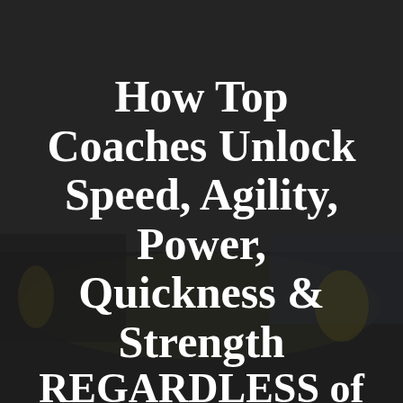[Figure (photo): Dark background photo of track and field athletes running in a stadium, with a dark semi-transparent overlay]
How Top Coaches Unlock Speed, Agility, Power, Quickness & Strength REGARDLESS of "Natural Ability" Producing Law